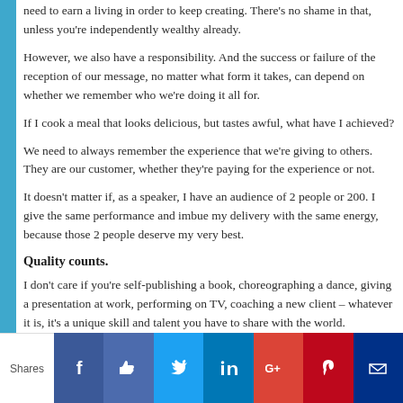need to earn a living in order to keep creating. There's no shame in that, unless you're independently wealthy already.
However, we also have a responsibility. And the success or failure of the reception of our message, no matter what form it takes, can depend on whether we remember who we're doing it all for.
If I cook a meal that looks delicious, but tastes awful, what have I achieved?
We need to always remember the experience that we're giving to others. They are our customer, whether they're paying for the experience or not.
It doesn't matter if, as a speaker, I have an audience of 2 people or 200. I give the same performance and imbue my delivery with the same energy, because those 2 people deserve my very best.
Quality counts.
I don't care if you're self-publishing a book, choreographing a dance, giving a presentation at work, performing on TV, coaching a new client – whatever it is, it's a unique skill and talent you have to share with the world.
[Tweet "Whatever you do, remember that you have a responsibility to do it well. – @eandtsmom"]